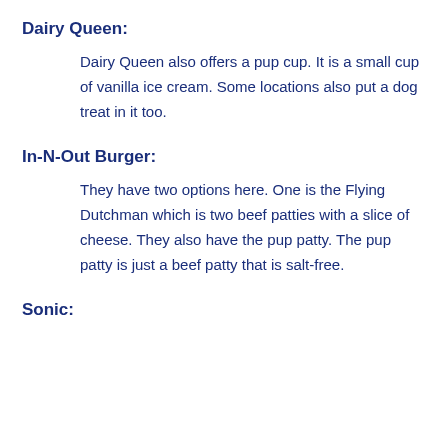Dairy Queen:
Dairy Queen also offers a pup cup. It is a small cup of vanilla ice cream. Some locations also put a dog treat in it too.
In-N-Out Burger:
They have two options here. One is the Flying Dutchman which is two beef patties with a slice of cheese. They also have the pup patty. The pup patty is just a beef patty that is salt-free.
Sonic: